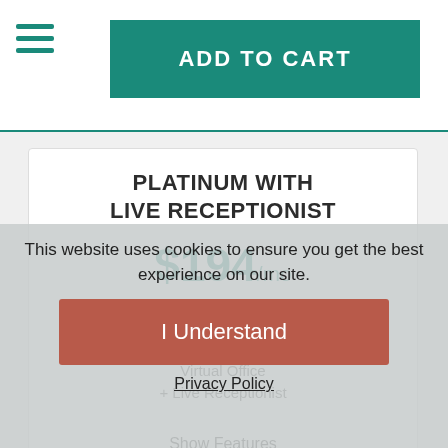ADD TO CART
PLATINUM WITH
LIVE RECEPTIONIST
$194/mo
$150 Setup fee (One Time)
Virtual Office
+ Live Receptionist
Show Features
This website uses cookies to ensure you get the best experience on our site.
I Understand
ADD TO CART
PLATINUM PLUS
Privacy Policy